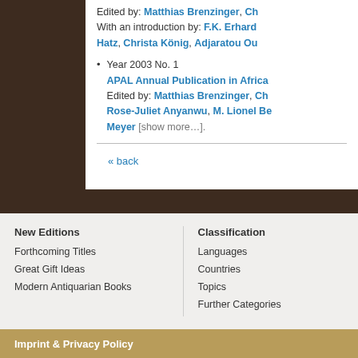Edited by: Matthias Brenzinger, Ch...
With an introduction by: F.K. Erhard Hatz, Christa König, Adjaratou Ou...
Year 2003 No. 1
APAL Annual Publication in Africa...
Edited by: Matthias Brenzinger, Ch...
Rose-Juliet Anyanwu, M. Lionel Be...
Meyer [show more...].
« back
New Editions
Forthcoming Titles
Great Gift Ideas
Modern Antiquarian Books
Classification
Languages
Countries
Topics
Further Categories
Imprint & Privacy Policy